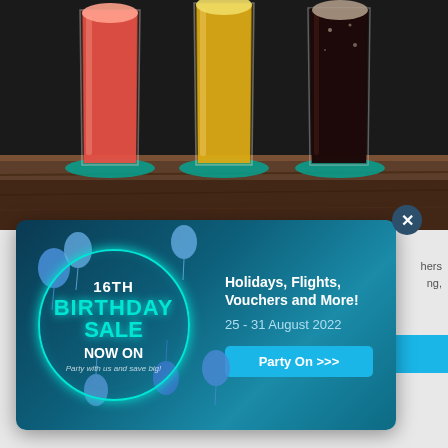[Figure (photo): Three tall glasses with colorful beverages (pink/red, yellow/orange, dark brown) on teal coasters on a wooden surface against a dark background]
[Figure (infographic): 16th Birthday Sale promotional popup modal with glowing teal circle, blue balloons, text '16TH BIRTHDAY SALE NOW ON', 'Party with us and save big!', 'Holidays, Flights, Vouchers and More!', '25 - 31 August 2022', and a 'Party On >>>' button on a dark teal gradient background. A close (X) button appears in the top right corner of the modal.]